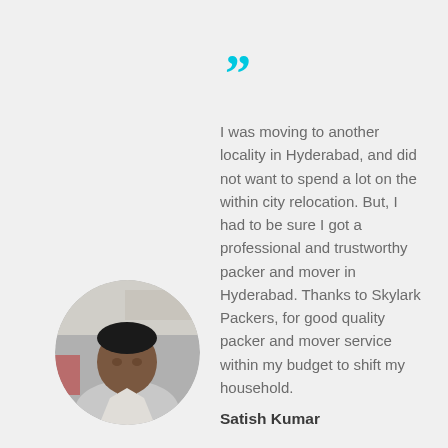[Figure (illustration): Large cyan/turquoise double closing quotation mark icon]
I was moving to another locality in Hyderabad, and did not want to spend a lot on the within city relocation. But, I had to be sure I got a professional and trustworthy packer and mover in Hyderabad. Thanks to Skylark Packers, for good quality packer and mover service within my budget to shift my household.
[Figure (photo): Circular profile photo of a middle-aged Indian man with dark hair, wearing a light shirt, photographed indoors]
Satish Kumar